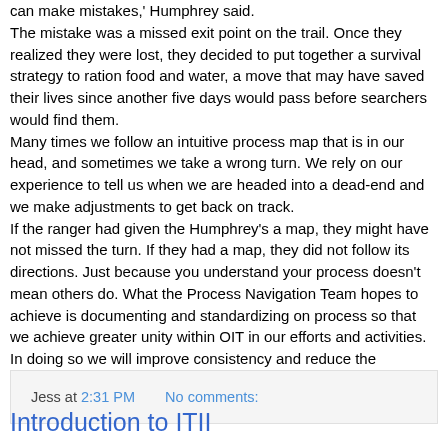can make mistakes,' Humphrey said. The mistake was a missed exit point on the trail. Once they realized they were lost, they decided to put together a survival strategy to ration food and water, a move that may have saved their lives since another five days would pass before searchers would find them. Many times we follow an intuitive process map that is in our head, and sometimes we take a wrong turn. We rely on our experience to tell us when we are headed into a dead-end and we make adjustments to get back on track. If the ranger had given the Humphrey's a map, they might have not missed the turn. If they had a map, they did not follow its directions. Just because you understand your process doesn't mean others do. What the Process Navigation Team hopes to achieve is documenting and standardizing on process so that we achieve greater unity within OIT in our efforts and activities. In doing so we will improve consistency and reduce the bottleneck effect where we rely completely on a single person.
Jess at 2:31 PM   No comments:
Introduction to ITII